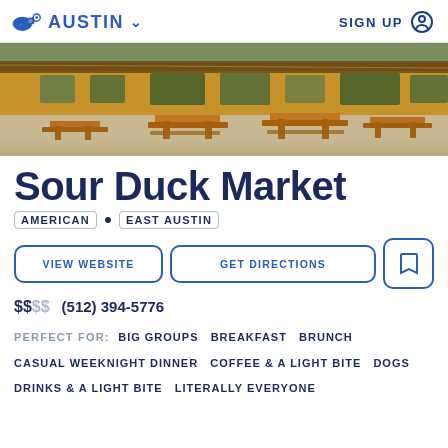AUSTIN  SIGN UP
[Figure (photo): Outdoor seating area of Sour Duck Market with wooden picnic tables on gravel patio, surrounded by the restaurant building with large windows and string lights]
Sour Duck Market
AMERICAN • EAST AUSTIN
VIEW WEBSITE  GET DIRECTIONS  [bookmark icon]
$$  (512) 394-5776
PERFECT FOR:  BIG GROUPS  BREAKFAST  BRUNCH  CASUAL WEEKNIGHT DINNER  COFFEE & A LIGHT BITE  DOGS  DRINKS & A LIGHT BITE  LITERALLY EVERYONE